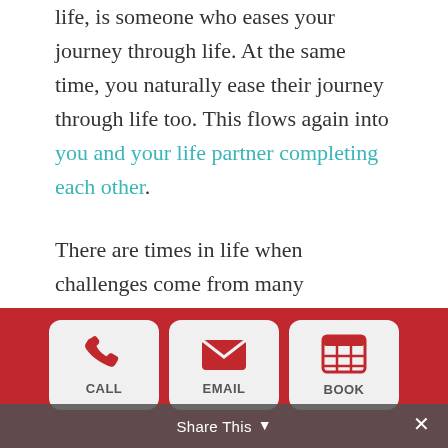life, is someone who eases your journey through life. At the same time, you naturally ease their journey through life too. This flows again into you and your life partner completing each other.

There are times in life when challenges come from many directions.

Most people while single have had times when
[Figure (infographic): Mobile app bottom navigation bar with red background, containing three button cards: CALL (phone icon), EMAIL (envelope icon), BOOK (calendar grid icon), and a Share This overlay bar at the bottom with a close X button.]